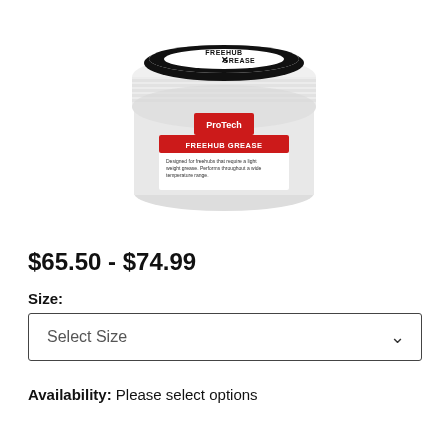[Figure (photo): A white cylindrical jar of Freehub X Grease by Pro-Tech, showing the label on top reading 'FREEHUB X GREASE' with product description text, and the side label reading 'FREEHUB GREASE' with additional text.]
$65.50 - $74.99
Size:
Select Size
Availability: Please select options